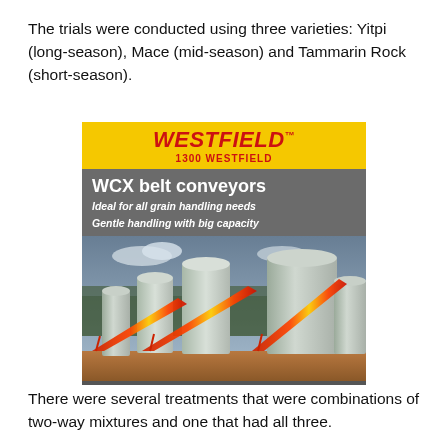The trials were conducted using three varieties: Yitpi (long-season), Mace (mid-season) and Tammarin Rock (short-season).
[Figure (photo): Advertisement for Westfield WCX belt conveyors showing red-and-yellow belt conveyors positioned next to large silver grain silos. Yellow banner at top reads WESTFIELD / 1300 WESTFIELD. Gray bar reads WCX belt conveyors / Ideal for all grain handling needs / Gentle handling with big capacity.]
There were several treatments that were combinations of two-way mixtures and one that had all three.